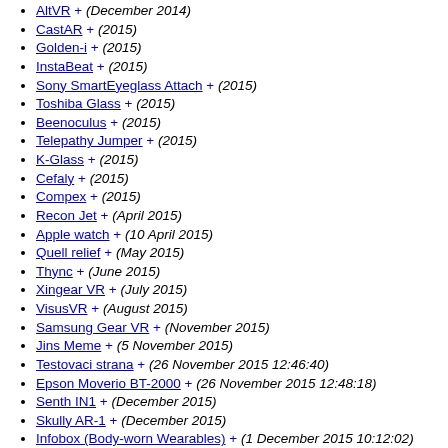AltVR + (December 2014)
CastAR + (2015)
Golden-i + (2015)
InstaBeat + (2015)
Sony SmartEyeglass Attach + (2015)
Toshiba Glass + (2015)
Beenoculus + (2015)
Telepathy Jumper + (2015)
K-Glass + (2015)
Cefaly + (2015)
Compex + (2015)
Recon Jet + (April 2015)
Apple watch + (10 April 2015)
Quell relief + (May 2015)
Thync + (June 2015)
Xingear VR + (July 2015)
VisusVR + (August 2015)
Samsung Gear VR + (November 2015)
Jins Meme + (5 November 2015)
Testovaci strana + (26 November 2015 12:46:40)
Epson Moverio BT-2000 + (26 November 2015 12:48:18)
Senth IN1 + (December 2015)
Skully AR-1 + (December 2015)
Infobox (Body-worn Wearables) + (1 December 2015 10:12:02)
Infobox (HMDs) + (1 December 2015 10:17:40)
Neurocam + (15 December 2015 22:44:48)